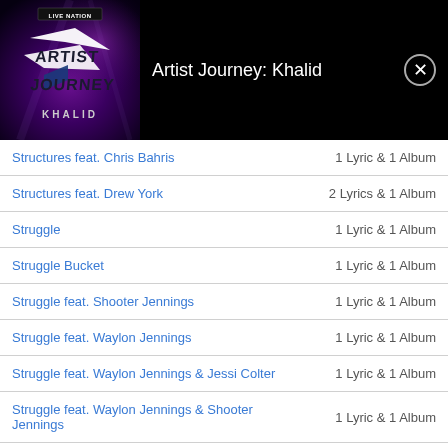[Figure (screenshot): Artist Journey: Khalid album art with Live Nation branding, purple/dark gradient background with 'ARTIST JOURNEY' text and 'KHALID' text below]
Artist Journey: Khalid
| Song | Count |
| --- | --- |
| Structures feat. Chris Bahris | 1 Lyric & 1 Album |
| Structures feat. Drew York | 2 Lyrics & 1 Album |
| Struggle | 1 Lyric & 1 Album |
| Struggle Bucket | 1 Lyric & 1 Album |
| Struggle feat. Shooter Jennings | 1 Lyric & 1 Album |
| Struggle feat. Waylon Jennings | 1 Lyric & 1 Album |
| Struggle feat. Waylon Jennings & Jessi Colter | 1 Lyric & 1 Album |
| Struggle feat. Waylon Jennings & Shooter Jennings | 1 Lyric & 1 Album |
| Struggle feat. Waylon Jennings & Yelawolf | 1 Lyric & 1 Album |
| Struggle Jennings feat. Panayota | 1 Lyric & 1 Album |
| Struggle Jennings feat. Shooter Jennings | 1 Lyric & 1 Album |